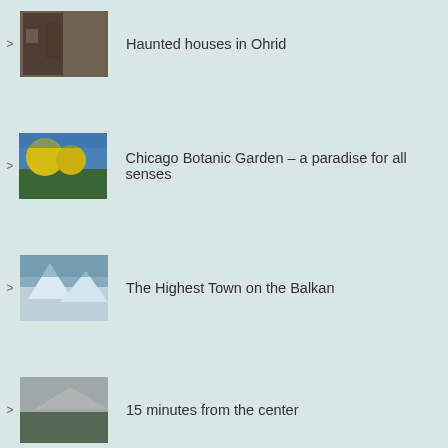Haunted houses in Ohrid
Chicago Botanic Garden - a paradise for all senses
The Highest Town on the Balkan
15 minutes from the center
Being a Tour Guide - good and bad sides
"One Pearl" - Please
Peshna - the cave where the fantasy and reality collide
Around the oldest lake in Europe
2017 - a year to remember